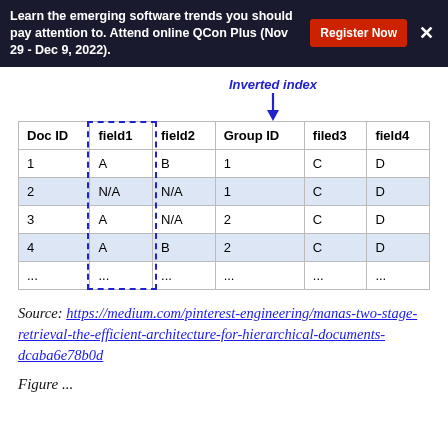Learn the emerging software trends you should pay attention to. Attend online QCon Plus (Nov 29 - Dec 9, 2022). Register Now ×
[Figure (other): Diagram showing an inverted index label with a downward arrow pointing to the field1 column of a table, with a dashed blue rectangle highlighting that column.]
| Doc ID | field1 | field2 | Group ID | filed3 | field4 |
| --- | --- | --- | --- | --- | --- |
| 1 | A | B | 1 | C | D |
| 2 | N/A | N/A | 1 | C | D |
| 3 | A | N/A | 2 | C | D |
| 4 | A | B | 2 | C | D |
| ... | ... | ... | ... | ... | ... |
Source: https://medium.com/pinterest-engineering/manas-two-stage-retrieval-the-efficient-architecture-for-hierarchical-documents-dcaba6e78b0d
Figure ...